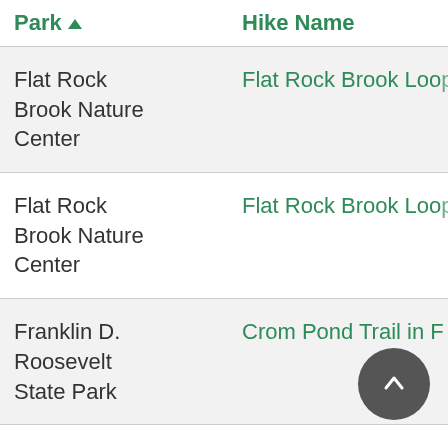| Park | Hike Name |
| --- | --- |
| Flat Rock Brook Nature Center | Flat Rock Brook Loop |
| Flat Rock Brook Nature Center | Flat Rock Brook Loop |
| Franklin D. Roosevelt State Park | Crom Pond Trail in F |
| Franklin Lakes Nature Preserve | Franklin Lakes Natu |